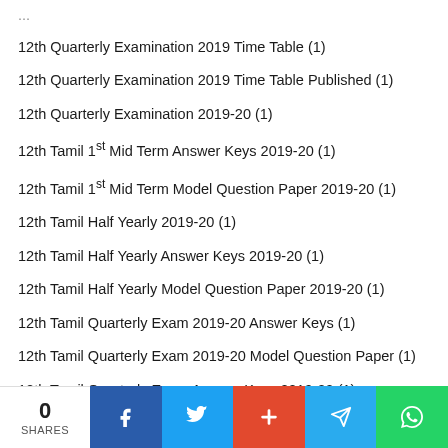12th Quarterly Examination 2019 Time Table (1)
12th Quarterly Examination 2019 Time Table Published (1)
12th Quarterly Examination 2019-20 (1)
12th Tamil 1st Mid Term Answer Keys 2019-20 (1)
12th Tamil 1st Mid Term Model Question Paper 2019-20 (1)
12th Tamil Half Yearly 2019-20 (1)
12th Tamil Half Yearly Answer Keys 2019-20 (1)
12th Tamil Half Yearly Model Question Paper 2019-20 (1)
12th Tamil Quarterly Exam 2019-20 Answer Keys (1)
12th Tamil Quarterly Exam 2019-20 Model Question Paper (1)
12th Tamil Quarterly Exam Answer Keys 2019-20 (1)